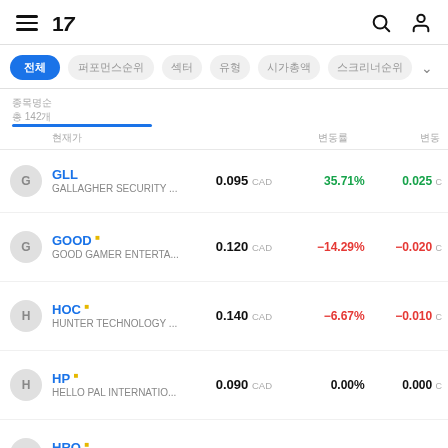TradingView - Watchlist
Watchlist filter bar: 전체, 퍼포먼스순위, 섹터, 유형, 시가총액, 스크리너순위
| 종목명 | 현재가 | 변동률 | 변동 |
| --- | --- | --- | --- |
| GLL / GALLAGHER SECURITY ... | 0.095 CAD | 35.71% | 0.025 C |
| GOOD / GOOD GAMER ENTERTA... | 0.120 CAD | -14.29% | -0.020 C |
| HOC / HUNTER TECHNOLOGY ... | 0.140 CAD | -6.67% | -0.010 C |
| HP / HELLO PAL INTERNATIO... | 0.090 CAD | 0.00% | 0.000 C |
| HRO / HERO INNOVATION GRO... | 0.120 CAD | 0.00% | 0.000 C |
| HS / HS GOVTECH SOLUTION... | 0.355 CAD | 0.00% | 0.000 C |